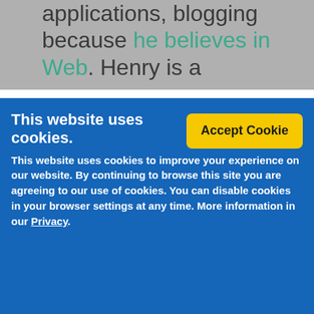applications, blogging because he believes in Web. Henry is a researcher, developer and semantic web evangelist – you've probably also come across his blog, The BabelFish Blog, before.
Now imagine these two being in the same room as Andreas and Matthias, discussing a project that...
This website uses cookies. This website uses cookies to improve your experience on our website. By continuing to browse this site you are agreeing to our use of cookies. You can disable cookies in your browser settings at any time. More information in our Privacy.